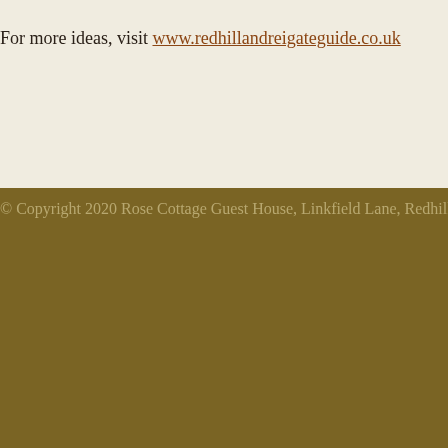For more ideas, visit www.redhillandreigateguide.co.uk
© Copyright 2020 Rose Cottage Guest House, Linkfield Lane, Redhill, Surrey,